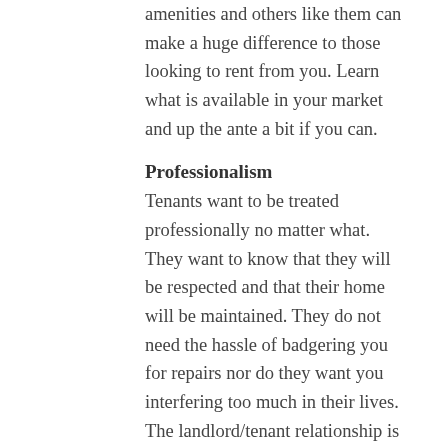amenities and others like them can make a huge difference to those looking to rent from you. Learn what is available in your market and up the ante a bit if you can.
Professionalism
Tenants want to be treated professionally no matter what. They want to know that they will be respected and that their home will be maintained. They do not need the hassle of badgering you for repairs nor do they want you interfering too much in their lives. The landlord/tenant relationship is a professional one, and that is how you should present yourself.
Tenants wants, needs and desires can vary